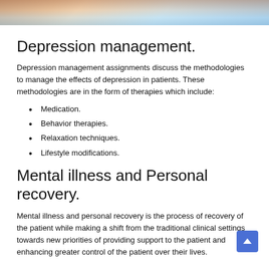[Figure (photo): Partial photo strip at top of page showing hands and blue medical background]
Depression management.
Depression management assignments discuss the methodologies to manage the effects of depression in patients. These methodologies are in the form of therapies which include:
Medication.
Behavior therapies.
Relaxation techniques.
Lifestyle modifications.
Mental illness and Personal recovery.
Mental illness and personal recovery is the process of recovery of the patient while making a shift from the traditional clinical settings towards new priorities of providing support to the patient and enhancing greater control of the patient over their lives.